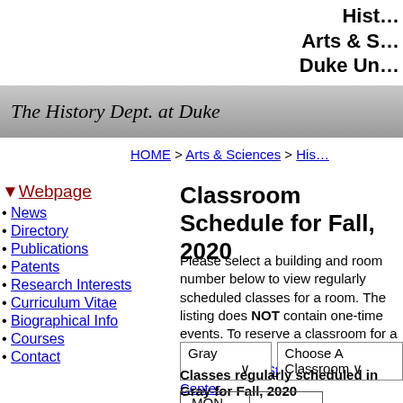Hist…
Arts & S…
Duke Un…
[Figure (logo): The History Dept. at Duke - stylized italic text on gray gradient banner]
HOME > Arts & Sciences > His…
Webpage
News
Directory
Publications
Patents
Research Interests
Curriculum Vitae
Biographical Info
Courses
Contact
Classroom Schedule for Fall, 2020
Please select a building and room number below to view regularly scheduled classes for a room. The listing does NOT contain one-time events. To reserve a classroom for a one-time event, please submit a request to the Student Services Center.
Gray [dropdown] Choose A Classroom [dropdown]
Classes regularly scheduled in Gray for Fall, 2020
| MON |  |
| --- | --- |
| TUES |  |
| WED |  |
| THURS |  |